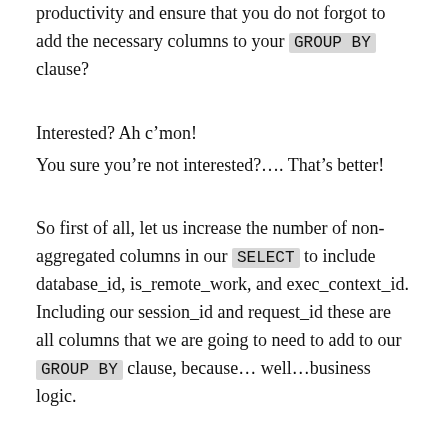productivity and ensure that you do not forgot to add the necessary columns to your GROUP BY clause?
Interested? Ah c’mon!
You sure you’re not interested?…. That’s better!
So first of all, let us increase the number of non-aggregated columns in our SELECT to include database_id, is_remote_work, and exec_context_id. Including our session_id and request_id these are all columns that we are going to need to add to our GROUP BY clause, because… well…business logic.
Only problem is ain’t nobody got time for that.